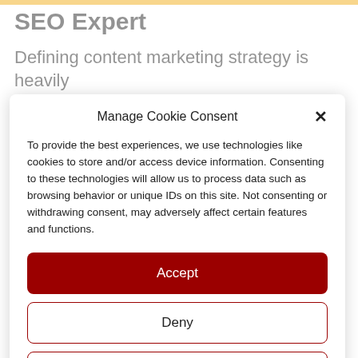SEO Expert
Defining content marketing strategy is heavily
Manage Cookie Consent
To provide the best experiences, we use technologies like cookies to store and/or access device information. Consenting to these technologies will allow us to process data such as browsing behavior or unique IDs on this site. Not consenting or withdrawing consent, may adversely affect certain features and functions.
Accept
Deny
View preferences